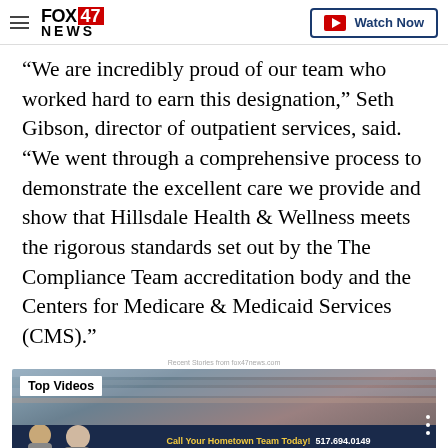FOX47 NEWS | Watch Now
“We are incredibly proud of our team who worked hard to earn this designation,” Seth Gibson, director of outpatient services, said. “We went through a comprehensive process to demonstrate the excellent care we provide and show that Hillsdale Health & Wellness meets the rigorous standards set out by the The Compliance Team accreditation body and the Centers for Medicare & Medicaid Services (CMS).”
Recent Stories from fox47news.com
[Figure (screenshot): Top Videos banner showing two people with Auto-Owners Insurance and Holt & Dimondale Insurance Agency advertisement with phone number 517.694.0149]